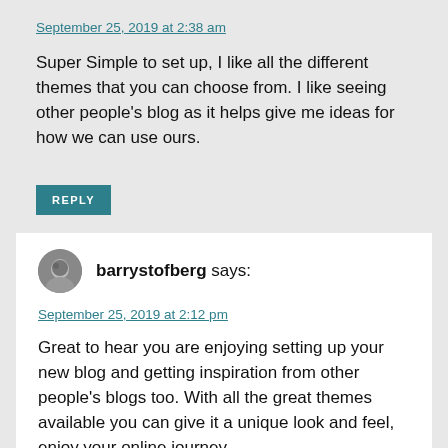September 25, 2019 at 2:38 am
Super Simple to set up, I like all the different themes that you can choose from. I like seeing other people's blog as it helps give me ideas for how we can use ours.
REPLY
barrystofberg says:
September 25, 2019 at 2:12 pm
Great to hear you are enjoying setting up your new blog and getting inspiration from other people's blogs too. With all the great themes available you can give it a unique look and feel, enjoy your online journey. Barry, Edublogs Support